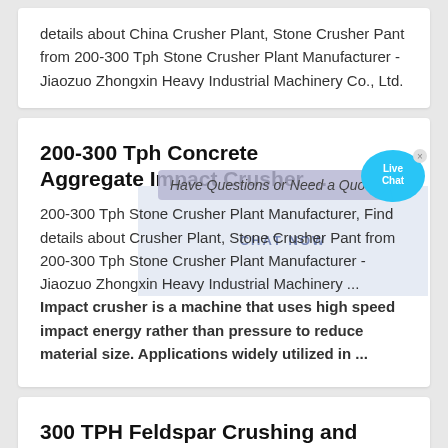details about China Crusher Plant, Stone Crusher Pant from 200-300 Tph Stone Crusher Plant Manufacturer - Jiaozuo Zhongxin Heavy Industrial Machinery Co., Ltd.
200-300 Tph Concrete Aggregate Impact Crusher ...
200-300 Tph Stone Crusher Plant Manufacturer, Find details about Crusher Plant, Stone Crusher Pant from 200-300 Tph Stone Crusher Plant Manufacturer - Jiaozuo Zhongxin Heavy Industrial Machinery ... Impact crusher is a machine that uses high speed impact energy rather than pressure to reduce material size. Applications widely utilized in ...
300 TPH Feldspar Crushing and Sand-making Plant